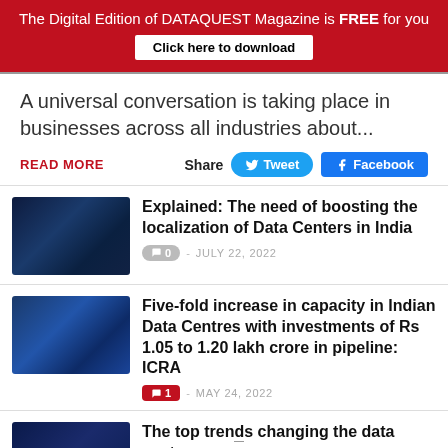The Digital Edition of DATAQUEST Magazine is FREE for you
Click here to download
A universal conversation is taking place in businesses across all industries about...
READ MORE
Share  Tweet  Facebook
Explained: The need of boosting the localization of Data Centers in India
0  -  JULY 22, 2022
Five-fold increase in capacity in Indian Data Centres with investments of Rs 1.05 to 1.20 lakh crore in pipeline: ICRA
1  -  MAY 24, 2022
The top trends changing the data center